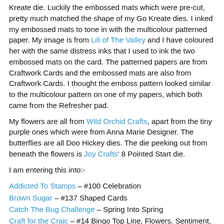Kreate die. Luckily the embossed mats which were pre-cut, pretty much matched the shape of my Go Kreate dies. I inked my embossed mats to tone in with the multicolour patterned paper. My image is from Lili of The Valley and I have coloured her with the same distress inks that I used to ink the two embossed mats on the card. The patterned papers are from Craftwork Cards and the embossed mats are also from Craftwork Cards. I thought the emboss pattern looked similar to the multicolour pattern on one of my papers, which both came from the Refresher pad.
My flowers are all from Wild Orchid Crafts, apart from the tiny purple ones which were from Anna Marie Designer. The butterflies are all Doo Hickey dies. The die peeking out from beneath the flowers is Joy Crafts' 8 Pointed Start die.
I am entering this into:-
Addicted To Stamps – #100 Celebration
Brown Sugar – #137 Shaped Cards
Catch The Bug Challenge – Spring Into Spring
Craft for the Craic – #14 Bingo Top Line, Flowers, Sentiment, Image